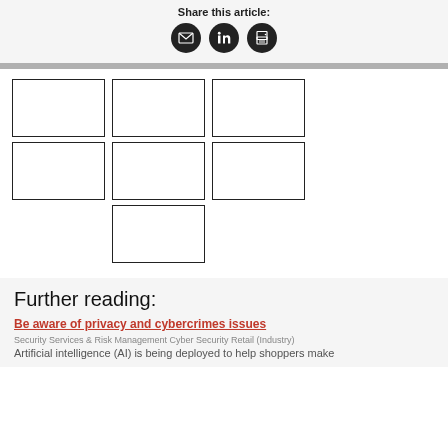Share this article:
[Figure (other): Three social share icon buttons: email (envelope), LinkedIn, and print/document]
[Figure (other): A 3-column grid of 7 empty placeholder image boxes arranged in a mosaic layout]
Further reading:
Be aware of privacy and cybercrimes issues
Security Services & Risk Management Cyber Security Retail (Industry)
Artificial intelligence (AI) is being deployed to help shoppers make